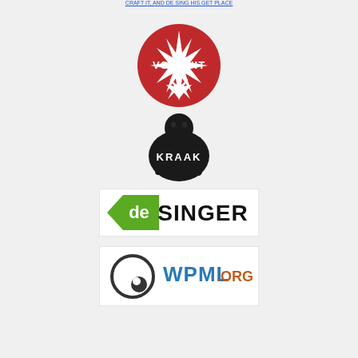[Figure (logo): Top navigation link bar with underlined blue text]
[Figure (logo): Vooruit logo - red circle with white starburst and text VOORUIT]
[Figure (logo): Kraak logo - black ink illustration of a figure with KRAAK text]
[Figure (logo): de Singer logo - green speaker shape with text deSINGER on white background with border]
[Figure (logo): WPML.org logo - circular icon with WPML.ORG text on white background with border]